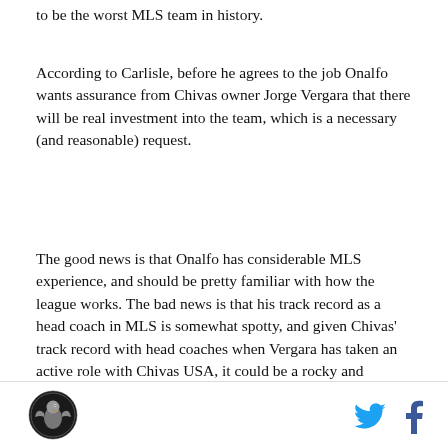to be the worst MLS team in history.
According to Carlisle, before he agrees to the job Onalfo wants assurance from Chivas owner Jorge Vergara that there will be real investment into the team, which is a necessary (and reasonable) request.
The good news is that Onalfo has considerable MLS experience, and should be pretty familiar with how the league works. The bad news is that his track record as a head coach in MLS is somewhat spotty, and given Chivas' track record with head coaches when Vergara has taken an active role with Chivas USA, it could be a rocky and ultimately short-lived appointment. Still, given the choice between an MLS novice with a squad
[Figure (logo): Circular logo with eagle/bird emblem in black and white]
[Figure (other): Twitter bird icon in cyan blue and Facebook 'f' icon in dark blue]